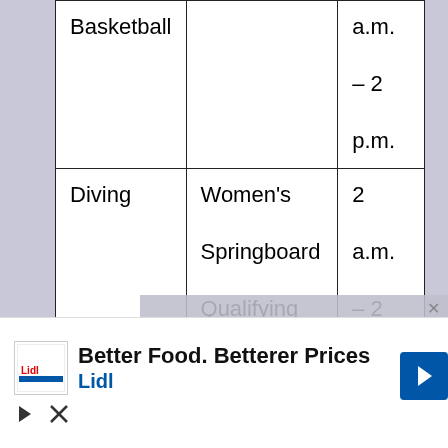| Sport | Event | Time |
| --- | --- | --- |
| Basketball |  | a.m. – 2 p.m. |
| Diving | Women's Springboard Qualifying | 2 a.m. – 2 p.m. |
| Women's | Quarterfinal | 4 |
[Figure (other): Video player overlay showing 'No compatible source was found for this media.' with an X close button]
[Figure (other): Advertisement banner: Lidl logo with text 'Better Food. Betterer Prices' and 'Lidl' in blue, with a blue arrow button. Below are play and close icons.]